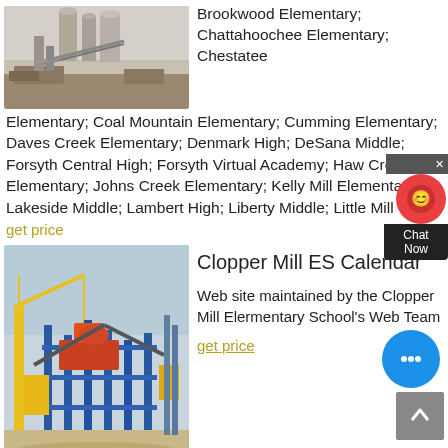[Figure (photo): Industrial facility with silos and construction equipment, arid environment]
Brookwood Elementary; Chattahoochee Elementary; Chestatee Elementary; Coal Mountain Elementary; Cumming Elementary; Daves Creek Elementary; Denmark High; DeSana Middle; Forsyth Central High; Forsyth Virtual Academy; Haw Creek Elementary; Johns Creek Elementary; Kelly Mill Elementary; Lakeside Middle; Lambert High; Liberty Middle; Little Mill
get price
[Figure (photo): Industrial steel construction site with yellow crane and blue steel framework]
Clopper Mill ES Calendar
Web site maintained by the Clopper Mill Elermentary School's Web Team
get price